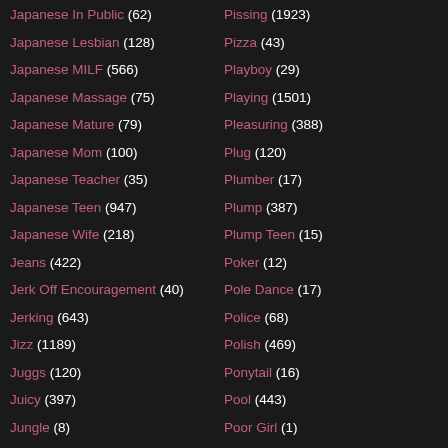Japanese In Public (62)
Japanese Lesbian (128)
Japanese MILF (566)
Japanese Massage (75)
Japanese Mature (79)
Japanese Mom (100)
Japanese Teacher (35)
Japanese Teen (947)
Japanese Wife (218)
Jeans (422)
Jerk Off Encouragement (40)
Jerking (643)
Jizz (1189)
Juggs (120)
Juicy (397)
Jungle (8)
Pissing (1923)
Pizza (43)
Playboy (29)
Playing (1501)
Pleasuring (388)
Plug (120)
Plumber (17)
Plump (387)
Plump Teen (15)
Poker (12)
Pole Dance (17)
Police (68)
Polish (469)
Ponytail (16)
Pool (443)
Poor Girl (1)